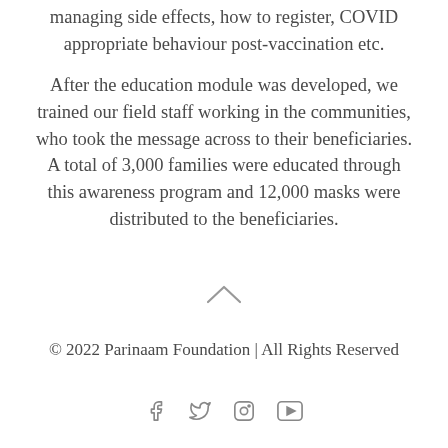managing side effects, how to register, COVID appropriate behaviour post-vaccination etc.
After the education module was developed, we trained our field staff working in the communities, who took the message across to their beneficiaries. A total of 3,000 families were educated through this awareness program and 12,000 masks were distributed to the beneficiaries.
[Figure (illustration): A small upward-pointing chevron/caret symbol used as a scroll-to-top or navigation indicator]
© 2022 Parinaam Foundation | All Rights Reserved
[Figure (illustration): Social media icons: Facebook (f), Twitter (bird), Instagram (camera), YouTube (play button)]